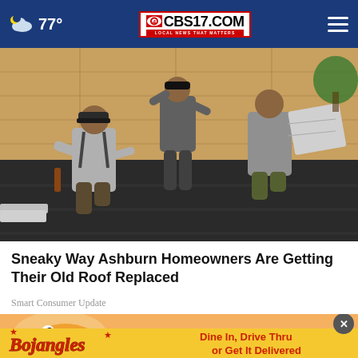CBS17.COM — LOCAL NEWS THAT MATTERS | 77°
[Figure (photo): Workers installing asphalt shingles on a roof. Two workers kneeling on a dark roof deck with plywood sheathing visible, handling roofing materials in daylight.]
Sneaky Way Ashburn Homeowners Are Getting Their Old Roof Replaced
Smart Consumer Update
[Figure (photo): Bojangles advertisement banner: cartoon character peeking from top edge, yellow background with Bojangles logo (red italic text with stars) and red text reading 'Dine In, Drive Thru or Get It Delivered'. Close (X) button in upper right.]